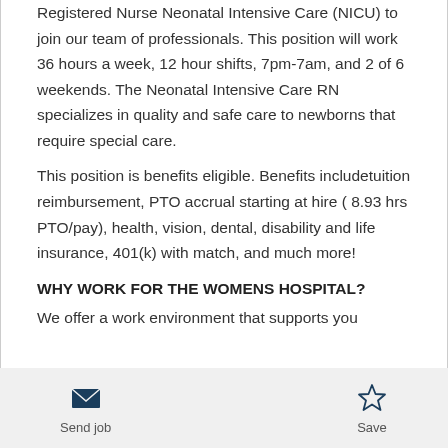Registered Nurse Neonatal Intensive Care (NICU) to join our team of professionals. This position will work 36 hours a week, 12 hour shifts, 7pm-7am, and 2 of 6 weekends. The Neonatal Intensive Care RN specializes in quality and safe care to newborns that require special care.
This position is benefits eligible. Benefits includetuition reimbursement, PTO accrual starting at hire ( 8.93 hrs PTO/pay), health, vision, dental, disability and life insurance, 401(k) with match, and much more!
WHY WORK FOR THE WOMENS HOSPITAL?
We offer a work environment that supports you
Send job | Save